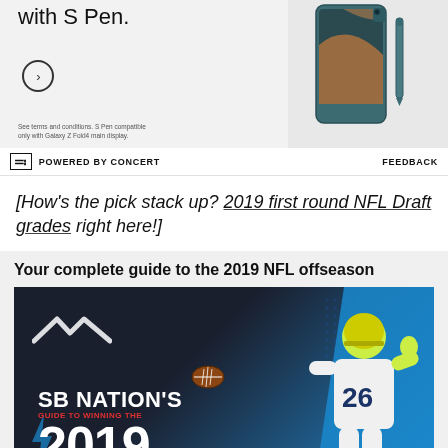[Figure (photo): Samsung Galaxy Z Fold4 advertisement showing phone with S Pen. Text reads 'with S Pen.' with a circle arrow button and fine print about terms and conditions.]
POWERED BY CONCERT    FEEDBACK
[How's the pick stack up? 2019 first round NFL Draft grades right here!]
[Figure (infographic): SB Nation's Guide to Winning the 2019 NFL offseason. Dark background with football player wearing number 26 jersey, blue accent colors, and decorative elements.]
Your complete guide to the 2019 NFL offseason